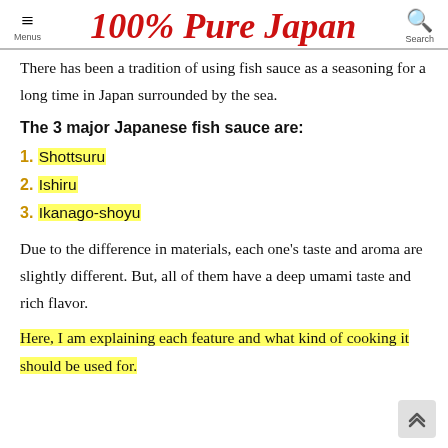100% Pure Japan
There has been a tradition of using fish sauce as a seasoning for a long time in Japan surrounded by the sea.
The 3 major Japanese fish sauce are:
1. Shottsuru
2. Ishiru
3. Ikanago-shoyu
Due to the difference in materials, each one's taste and aroma are slightly different. But, all of them have a deep umami taste and rich flavor.
Here, I am explaining each feature and what kind of cooking it should be used for.